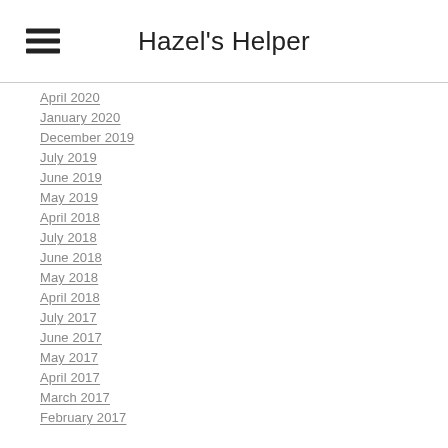Hazel's Helper
April 2020
January 2020
December 2019
July 2019
June 2019
May 2019
April 2018
July 2018
June 2018
May 2018
April 2018
July 2017
June 2017
May 2017
April 2017
March 2017
February 2017